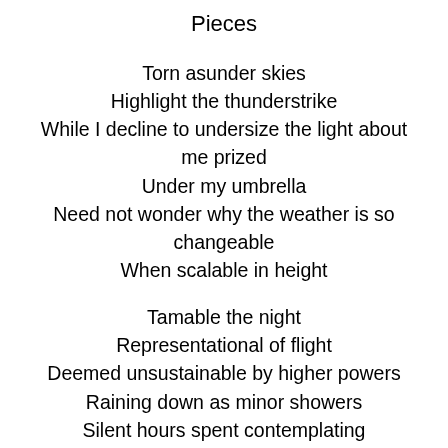Pieces
Torn asunder skies
Highlight the thunderstrike
While I decline to undersize the light about me prized
Under my umbrella
Need not wonder why the weather is so changeable
When scalable in height
Tamable the night
Representational of flight
Deemed unsustainable by higher powers
Raining down as minor showers
Silent hours spent contemplating
Reassemble us a relating